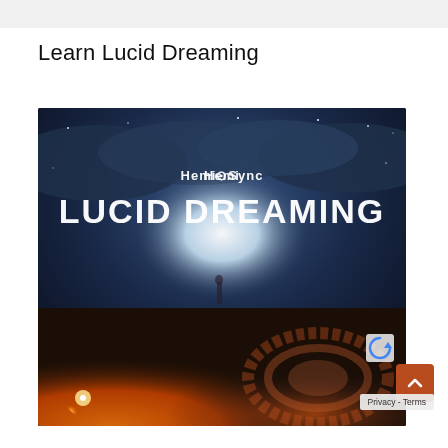Learn Lucid Dreaming
[Figure (photo): Album/product cover for 'Hemi-Sync Lucid Dreaming'. Shows a dreamlike cosmic landscape with a person standing in a glowing white light, surrounded by swirling galaxy and cloud imagery, warm orange tones at the bottom. White text reads 'Hemi-Sync' at top and 'LUCID DREAMING' in large bold letters.]